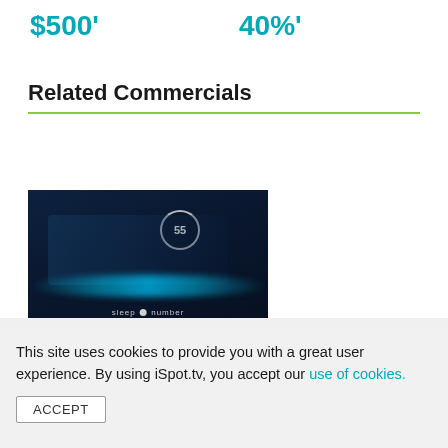$500'
40%'
Related Commercials
[Figure (photo): Screenshot of a Sleep Number TV commercial showing a person sleeping on a bed with a glowing blue edge and the number 55 displayed on a circular device above]
Sleep Number TV Spot, 'Nine Out of 10: Save $500'
This site uses cookies to provide you with a great user experience. By using iSpot.tv, you accept our use of cookies.
ACCEPT